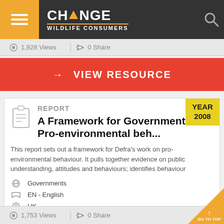CHANGE WILDLIFE CONSUMERS
1,928 Views | 0 Share
→ VIEW RESOURCE
A Framework for Governments: Pro-environmental beh...
REPORT
YEAR 2008
This report sets out a framework for Defra's work on pro-environmental behaviour. It pulls together evidence on public understanding, attitudes and behaviours; identifies behaviour
Governments
EN - English
UK
1,753 Views | 0 Share